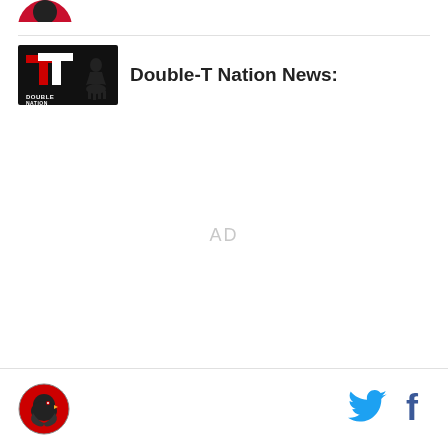[Figure (logo): Partial circular logo visible at top left, dark background with bird/animal silhouette]
[Figure (logo): Double-T Nation logo: black background with red and white Double T and silhouette of cowboy on horse]
Double-T Nation News:
AD
[Figure (logo): Bottom left: circular red Double-T Nation site icon logo]
[Figure (other): Twitter bird icon in cyan/blue at bottom right]
[Figure (other): Facebook 'f' icon in dark blue at bottom right]